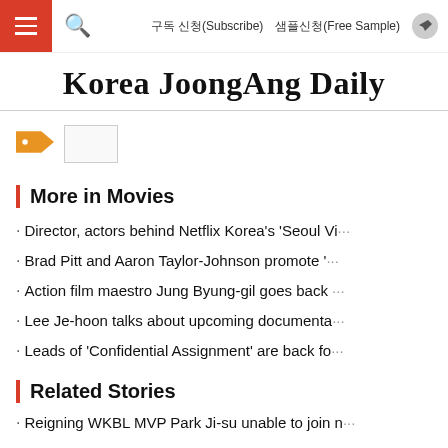구독 신청(Subscribe)  샘플신청(Free Sample)
Korea JoongAng Daily
[Figure (other): Orange tag/label icon with a small white rectangle placeholder image]
More in Movies
Director, actors behind Netflix Korea's 'Seoul Vi···
Brad Pitt and Aaron Taylor-Johnson promote '···
Action film maestro Jung Byung-gil goes back ···
Lee Je-hoon talks about upcoming documenta···
Leads of 'Confidential Assignment' are back fo···
Related Stories
Reigning WKBL MVP Park Ji-su unable to join n···